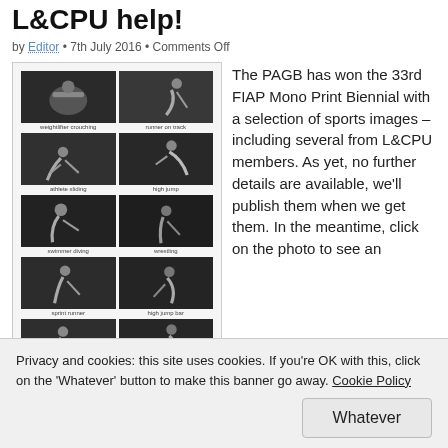L&CPU help!
by Editor • 7th July 2016 • Comments Off
[Figure (photo): A collage of black-and-white sports photography images arranged in a grid, showing athletes in various sports including weightlifting, running, high jump, wrestling, and other athletic events.]
The PAGB has won the 33rd FIAP Mono Print Biennial with a selection of sports images – including several from L&CPU members. As yet, no further details are available, we'll publish them when we get them. In the meantime, click on the photo to see an
Privacy and cookies: this site uses cookies. If you're OK with this, click on the 'Whatever' button to make this banner go away. Cookie Policy
Whatever